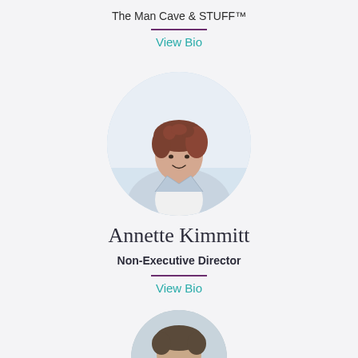The Man Cave & STUFF™
View Bio
[Figure (photo): Circular portrait photo of Annette Kimmitt, a woman with curly brown hair wearing a light blue/white blazer, smiling, on a light blurred background]
Annette Kimmitt
Non-Executive Director
View Bio
[Figure (photo): Partial circular portrait photo of another person, only the top of head visible at the bottom of the page]